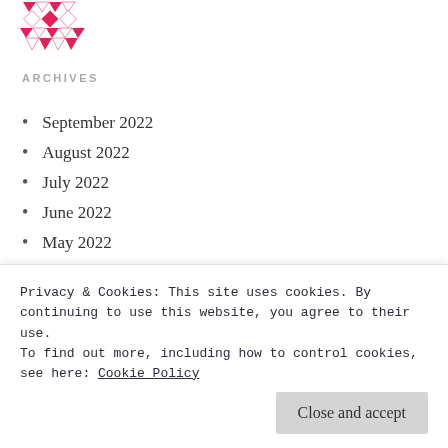[Figure (logo): Pink and white geometric/quilt pattern logo icon]
ARCHIVES
September 2022
August 2022
July 2022
June 2022
May 2022
April 2022
March 2022
February 2022
Privacy & Cookies: This site uses cookies. By continuing to use this website, you agree to their use. To find out more, including how to control cookies, see here: Cookie Policy
Close and accept